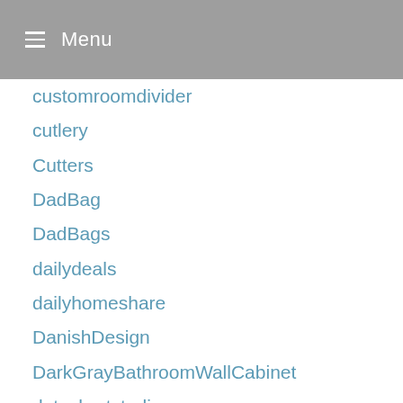Menu
customroomdivider
cutlery
Cutters
DadBag
DadBags
dailydeals
dailyhomeshare
DanishDesign
DarkGrayBathroomWallCabinet
datashartstudios
DD602
Deals
Decks
Decluttering
DECOMOMO
decor
Decorate